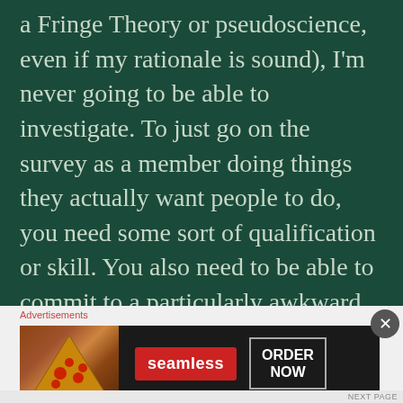she's going to give the money to investigate a Fringe Theory or pseudoscience, even if my rationale is sound), I'm never going to be able to investigate. To just go on the survey as a member doing things they actually want people to do, you need some sort of qualification or skill. You also need to be able to commit to a particularly awkward timing of departure, length of stay, and return, which gives me exactly one opportunity of timing before I turn thirty, and I'd rather spend next year doing
[Figure (other): Seamless food delivery advertisement banner showing pizza image on left, Seamless logo in red, and ORDER NOW button]
Advertisements